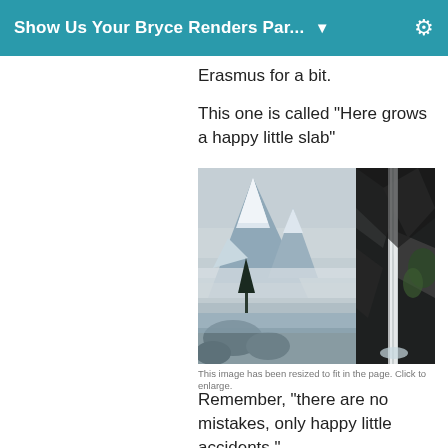Show Us Your Bryce Renders Par...
Erasmus for a bit.
This one is called "Here grows a happy little slab"
[Figure (illustration): A 3D Bryce render showing snowy mountain peaks on the left with a misty atmosphere, and dark rocky cliffs with a waterfall on the right side, viewed from a cave or rock alcove framing.]
This image has been resized to fit in the page. Click to enlarge.
Remember, "there are no mistakes, only happy little accidents."